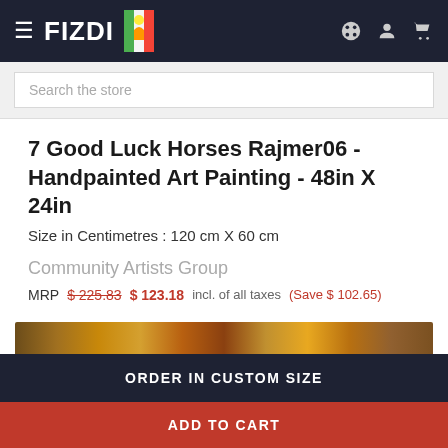FIZDI
7 Good Luck Horses Rajmer06 - Handpainted Art Painting - 48in X 24in
Size in Centimetres : 120 cm X 60 cm
Community Artists Group
MRP $225.83  $123.18  incl. of all taxes  (Save $102.65)
[Figure (photo): Partial view of a handpainted art painting showing horses, visible at the bottom of the page]
ORDER IN CUSTOM SIZE
ADD TO CART